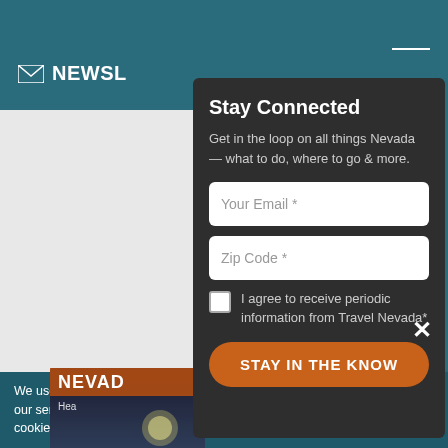NEWSLETTER
Stay Connected
Get in the loop on all things Nevada — what to do, where to go & more.
Your Email *
Zip Code *
I agree to receive periodic information from Travel Nevada*
STAY IN THE KNOW
We use cooki our services. cookie policy. More Information